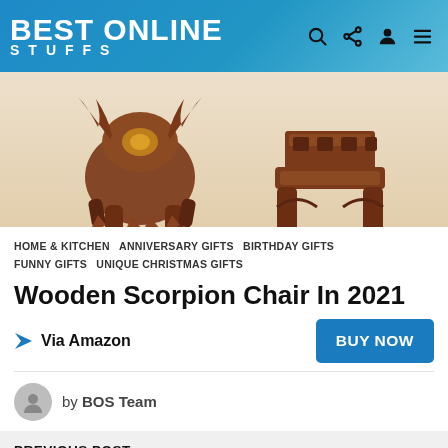BEST ONLINE STUFFS
[Figure (photo): Photo of carved wooden scorpion chairs on a beige background]
HOME & KITCHEN  ANNIVERSARY GIFTS  BIRTHDAY GIFTS  FUNNY GIFTS  UNIQUE CHRISTMAS GIFTS
Wooden Scorpion Chair In 2021
Via Amazon  BUY NOW
by BOS Team
PREVIOUS POST